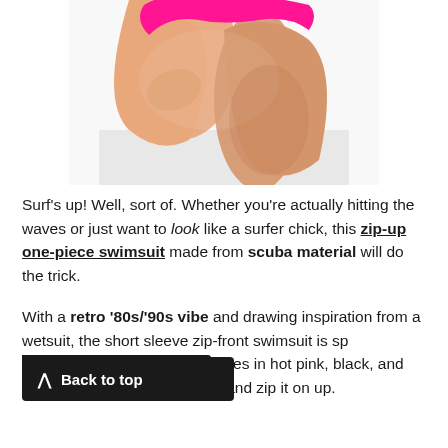[Figure (photo): Model wearing a hot pink high-cut bikini bottom, kneeling pose, lower body and legs visible, white background]
Surf's up! Well, sort of. Whether you're actually hitting the waves or just want to look like a surfer chick, this zip-up one-piece swimsuit made from scuba material will do the trick.
With a retro '80s/'90s vibe and drawing inspiration from a wetsuit, the short sleeve zip-front swimsuit is specially designed and comes in hot pink, black, and cobalt blue, so take your pick and zip it on up.